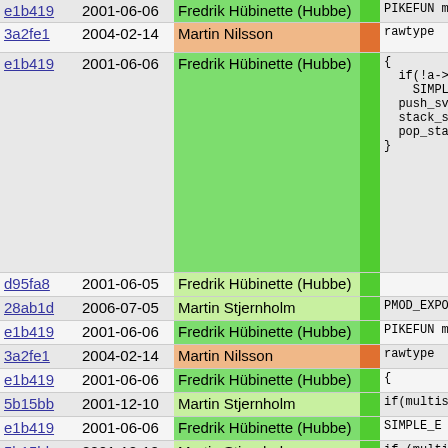| hash | date | author |  | code |
| --- | --- | --- | --- | --- |
| e1b419 | 2001-06-06 | Fredrik Hübinette (Hubbe) |  | PIKEFUN mixe |
| 3a2fe1 | 2004-02-14 | Martin Nilsson |  | rawtype |
| e1b419 | 2001-06-06 | Fredrik Hübinette (Hubbe) |  | {
  if(!a->si
    SIMPLE_E
  push_svalu
  stack_swap
  pop_stack(
} |
| d95fa8 | 2001-06-05 | Fredrik Hübinette (Hubbe) |  |  |
| 28ab1d | 2006-07-05 | Martin Stjernholm |  | PMOD_EXPORT_ |
| e1b419 | 2001-06-06 | Fredrik Hübinette (Hubbe) |  | PIKEFUN mixe |
| 3a2fe1 | 2004-02-14 | Martin Nilsson |  | rawtype |
| e1b419 | 2001-06-06 | Fredrik Hübinette (Hubbe) |  | { |
| 5b15bb | 2001-12-10 | Martin Stjernholm |  | if(multise |
| e1b419 | 2001-06-06 | Fredrik Hübinette (Hubbe) |  | SIMPLE_E |
| 5b15bb | 2001-12-10 | Martin Stjernholm |  | if (multis
  ptrdiff_
  push_mul
  push_mul
  sub_msno
  f_aggreg
}
else { |